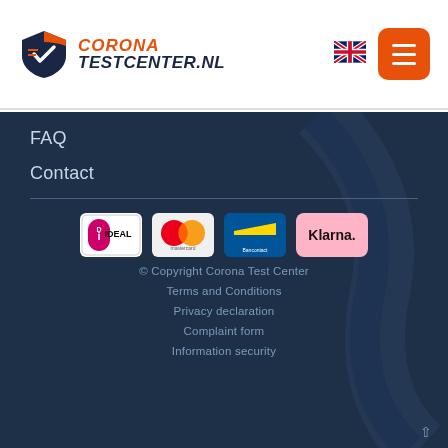[Figure (logo): Corona Testcenter.nl logo with shield icon, orange and dark blue text]
[Figure (logo): UK flag icon for language selection]
[Figure (infographic): Orange hamburger menu button with three white bars]
FAQ
Contact
[Figure (infographic): Payment logos: iDEAL, Mastercard, Bancontact, Klarna]
© Copyright Corona Test Center
Terms and Conditions
Privacy declaration
Complaint form
Information security